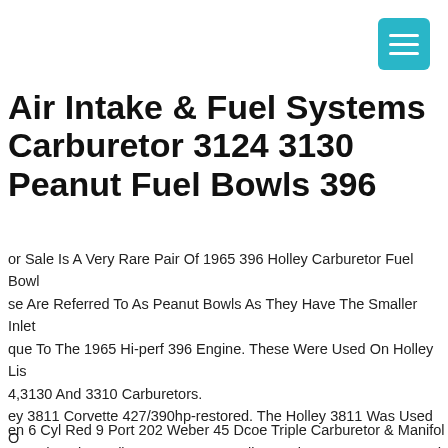[Figure (other): Teal/cyan hamburger menu button icon in top right corner]
Air Intake & Fuel Systems Carburetor 3124 3130 Peanut Fuel Bowls 396
or Sale Is A Very Rare Pair Of 1965 396 Holley Carburetor Fuel Bowls. se Are Referred To As Peanut Bowls As They Have The Smaller Inlet que To The 1965 Hi-perf 396 Engine. These Were Used On Holley Lis 4,3130 And 3310 Carburetors.
en 6 Cyl Red 9 Port 202 Weber 45 Dcoe Triple Carburetor & Manifold age . (as Pictured). We Are An Australian Carburetor Factory. Stand ng 36mm Chokes, 4.5 Aux Venturi, F16 Emulsion Tubes, 145 Main Jet Air Correctors, 55f8 Idle Jets, 45 Pump Jet, 40 Pump Spill, 200 Needle .
ey 3811 Corvette 427/390hp-restored. The Holley 3811 Was Used On